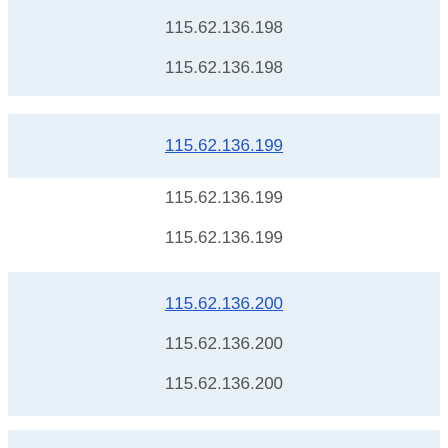115.62.136.198
115.62.136.198
115.62.136.199 (link)
115.62.136.199
115.62.136.199
115.62.136.200 (link)
115.62.136.200
115.62.136.200
115.62.136.201 (link, partial)